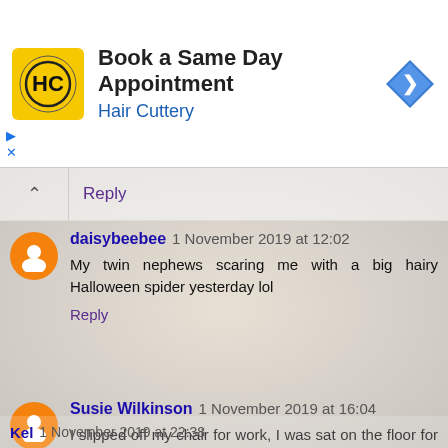[Figure (other): Hair Cuttery advertisement banner: yellow square logo with HC letters, text 'Book a Same Day Appointment' and 'Hair Cuttery' in blue, blue diamond navigation icon on right]
Reply
daisybeebee  1 November 2019 at 12:02
My twin nephews scaring me with a big hairy Halloween spider yesterday lol
Reply
Susie Wilkinson  1 November 2019 at 16:04
I slipped off my chair for work, I was sat on the floor for 10 minutes because I couldn't stop laughing!
Reply
Kel  1 November 2019 at 22:38